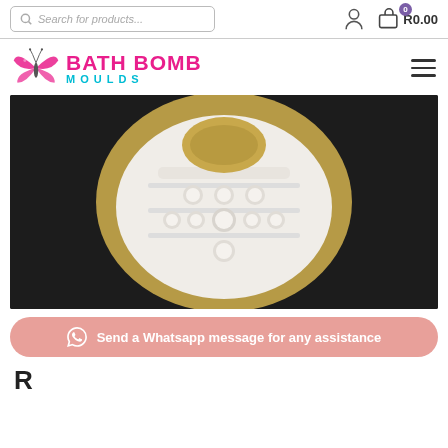Search for products... | user icon | R0.00 cart
[Figure (logo): Bath Bomb Moulds logo with pink butterfly and teal MOULDS text]
[Figure (photo): White decorative soap or bath bomb with circular patterns and raised dots, sitting in a yellow silicone mold on a dark background]
Send a Whatsapp message for any assistance
R